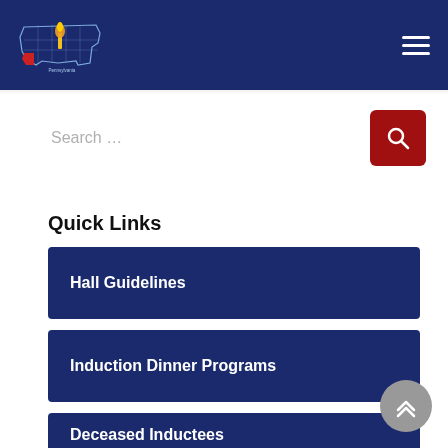[Figure (logo): Pennsylvania state organization logo with torch emblem and state map outline]
Search …
Quick Links
Hall Guidelines
Induction Dinner Programs
Deceased Inductees